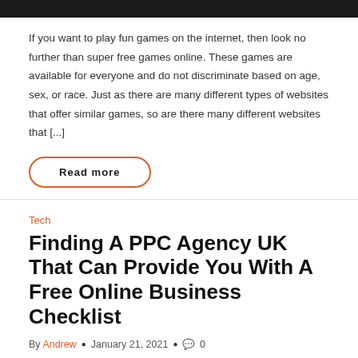[Figure (other): Black banner bar at top of page]
If you want to play fun games on the internet, then look no further than super free games online. These games are available for everyone and do not discriminate based on age, sex, or race. Just as there are many different types of websites that offer similar games, so are there many different websites that [...]
Read more
Tech
Finding A PPC Agency UK That Can Provide You With A Free Online Business Checklist
By Andrew • January 21, 2021 • 0